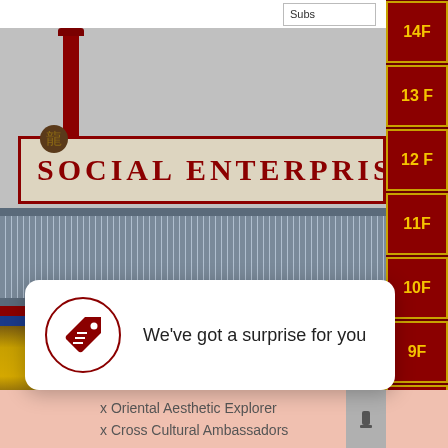[Figure (screenshot): Screenshot of a website showing a traditional Chinese-style building facade with 'SOCIAL ENTERPRIS[E]' signage, ornate red and gold decorations, and a navigation sidebar with floor buttons (14F through 6F)]
We've got a surprise for you
x Oriental Aesthetic Explorer
x Cross Cultural Ambassadors